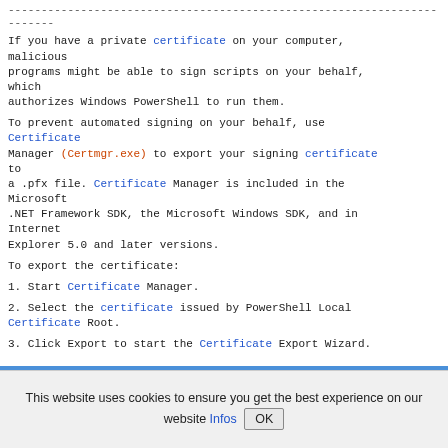------------------------------------------------------------------------
If you have a private certificate on your computer, malicious programs might be able to sign scripts on your behalf, which authorizes Windows PowerShell to run them.
To prevent automated signing on your behalf, use Certificate Manager (Certmgr.exe) to export your signing certificate to a .pfx file. Certificate Manager is included in the Microsoft .NET Framework SDK, the Microsoft Windows SDK, and in Internet Explorer 5.0 and later versions.
To export the certificate:
1. Start Certificate Manager.
2. Select the certificate issued by PowerShell Local Certificate Root.
3. Click Export to start the Certificate Export Wizard.
This website uses cookies to ensure you get the best experience on our website Infos OK